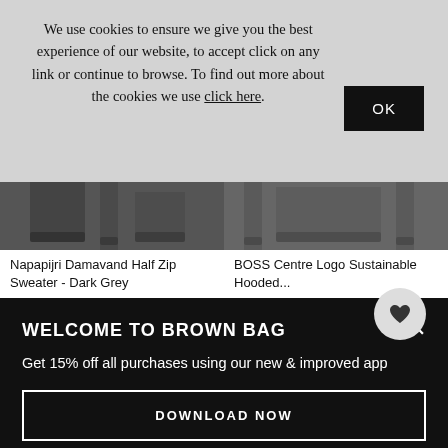We use cookies to ensure we give you the best experience of our website, to accept click on any link or continue to browse. To find out more about the cookies we use click here.
OK
[Figure (photo): Dark grey sweater product image - Napapijri Damavand Half Zip Sweater]
[Figure (photo): Dark grey hoodie product image - BOSS Centre Logo Sustainable Hooded]
Napapijri Damavand Half Zip Sweater - Dark Grey
BOSS Centre Logo Sustainable Hooded...
WELCOME TO BROWN BAG
Get 15% off all purchases using our new & improved app
DOWNLOAD NOW
*Excludes clearance, sale & any other promotion
StudentBeans